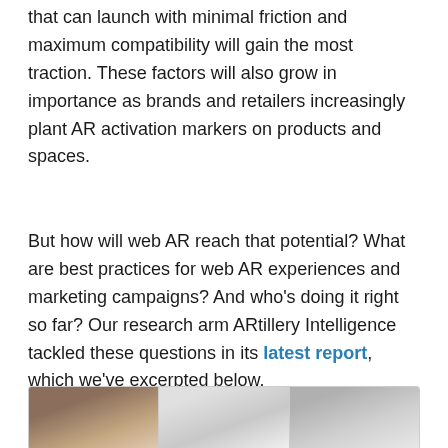that can launch with minimal friction and maximum compatibility will gain the most traction. These factors will also grow in importance as brands and retailers increasingly plant AR activation markers on products and spaces.
But how will web AR reach that potential? What are best practices for web AR experiences and marketing campaigns? And who's doing it right so far? Our research arm ARtillery Intelligence tackled these questions in its latest report, which we've excerpted below.
[Figure (photo): Three thumbnail images showing AR-related product photos arranged side by side in a card/frame.]